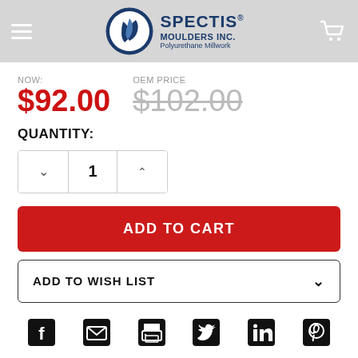[Figure (logo): Spectis Moulders Inc. logo with circular blue emblem and text 'SPECTIS MOULDERS INC. Polyurethane Millwork']
NOW: $92.00   OEM PRICE $102.00
QUANTITY:
1
ADD TO CART
ADD TO WISH LIST
[Figure (infographic): Social share icons row: Facebook, Email, Print, Twitter, LinkedIn, Pinterest]